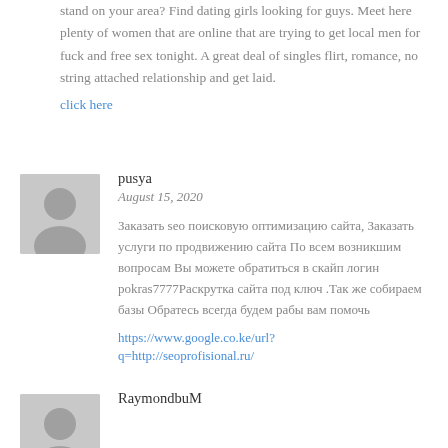stand on your area? Find dating girls looking for guys. Meet here plenty of women that are online that are trying to get local men for fuck and free sex tonight. A great deal of singles flirt, romance, no string attached relationship and get laid.
click here
[Figure (illustration): User avatar placeholder showing a silhouette of a person on grey background]
pusya
August 15, 2020
Заказать seo поисковую оптимизацию сайта, Заказать услуги по продвижению сайта По всем возникшим вопросам Вы можете обратиться в скайп логин pokras7777Раскрутка сайта под ключ .Так же собираем базы Обратесь всегда будем рабы вам помочь
https://www.google.co.ke/url?q=http://seoprofisional.ru/
[Figure (illustration): User avatar placeholder showing a silhouette of a person on grey background]
RaymondbuM